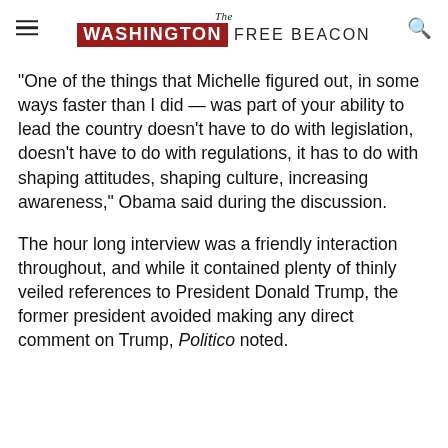The Washington Free Beacon
"One of the things that Michelle figured out, in some ways faster than I did — was part of your ability to lead the country doesn't have to do with legislation, doesn't have to do with regulations, it has to do with shaping attitudes, shaping culture, increasing awareness," Obama said during the discussion.
The hour long interview was a friendly interaction throughout, and while it contained plenty of thinly veiled references to President Donald Trump, the former president avoided making any direct comment on Trump, Politico noted.